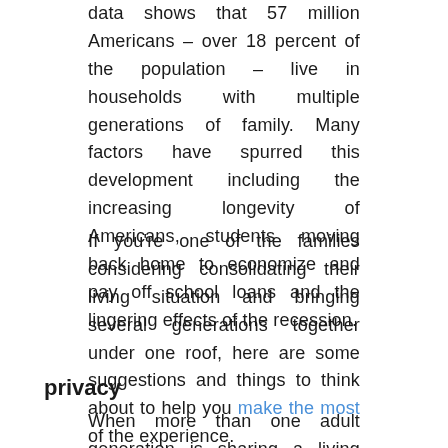data shows that 57 million Americans – over 18 percent of the population – live in households with multiple generations of family. Many factors have spurred this development including the increasing longevity of Americans, students moving back home to economize and pay off school loans and the lingering effects of the recession.
If you're one of the families considering consolidating their living situation and bringing several generations together under one roof, here are some suggestions and things to think about to help you make the most of the experience.
privacy
When more than one adult generation is sharing a living space, privacy becomes a critical issue. Ideally, the adults in the home should have their own